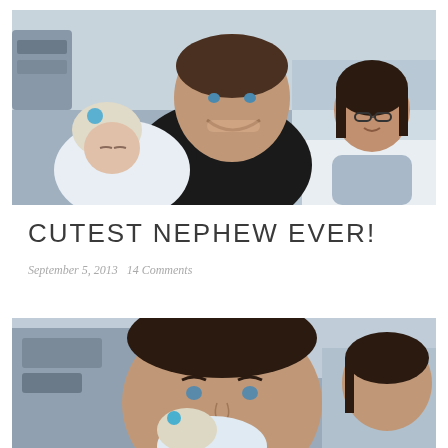[Figure (photo): A man in a black shirt holding a sleeping newborn baby wearing a white knit hat with a blue pom-pom. A woman with dark hair and glasses is visible in the background, smiling, in what appears to be a hospital room.]
CUTEST NEPHEW EVER!
September 5, 2013   14 Comments
[Figure (photo): A closer crop of the same hospital scene, showing a dark-haired man smiling and holding a newborn baby with a blue pom-pom hat, with a woman partially visible on the right.]